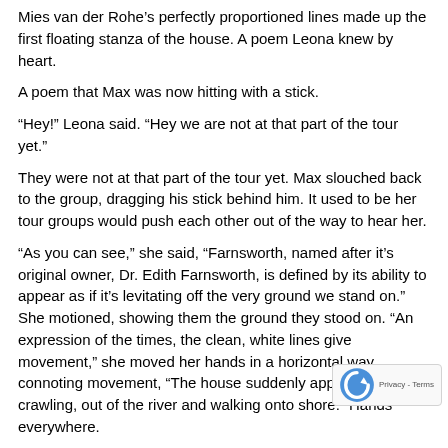Mies van der Rohe’s perfectly proportioned lines made up the first floating stanza of the house. A poem Leona knew by heart.
A poem that Max was now hitting with a stick.
“Hey!” Leona said. “Hey we are not at that part of the tour yet.”
They were not at that part of the tour yet. Max slouched back to the group, dragging his stick behind him. It used to be her tour groups would push each other out of the way to hear her.
“As you can see,” she said, “Farnsworth, named after it’s original owner, Dr. Edith Farnsworth, is defined by its ability to appear as if it’s levitating off the very ground we stand on.” She motioned, showing them the ground they stood on. “An expression of the times, the clean, white lines give movement,” she moved her hands in a horizontal way connoting movement, “The house suddenly appearing, crawling, out of the river and walking onto shore.” Hands everywhere.
The gnome girl interrupted Leona, and said, “It was probably get away form that river. Jesus.” She waved her hands in fro face after what was the first contribution she’d made to the group’s